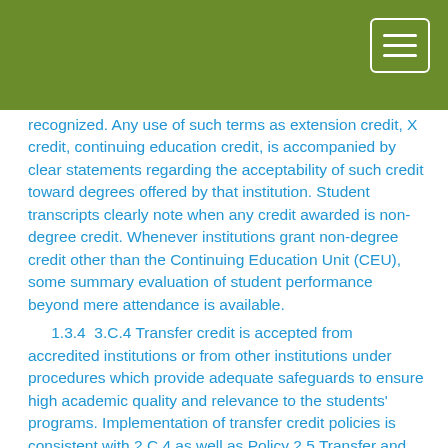recognized. Any use of such terms as extension credit, X credit, continuing education credit, is accompanied by clear statements regarding the acceptability of such credit toward degrees offered by that institution. Student transcripts clearly note when any credit awarded is non-degree credit. Whenever institutions grant non-degree credit other than the Continuing Education Unit (CEU), some summary evaluation of student performance beyond mere attendance is available.
1.3.4  3.C.4 Transfer credit is accepted from accredited institutions or from other institutions under procedures which provide adequate safeguards to ensure high academic quality and relevance to the students' programs. Implementation of transfer credit policies is consistent with 2.C.4 as well as Policy 2.5 Transfer and Award of Academic Credit. The final judgment for determining acceptable credit